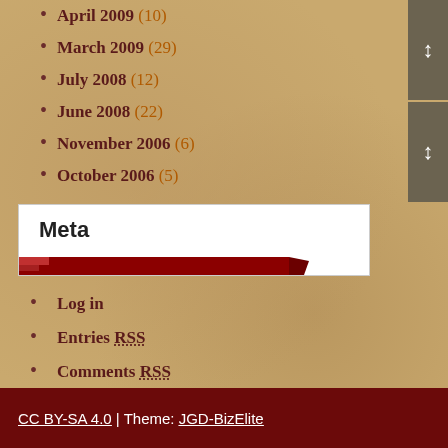April 2009 (10)
March 2009 (29)
July 2008 (12)
June 2008 (22)
November 2006 (6)
October 2006 (5)
Meta
Log in
Entries RSS
Comments RSS
WordPress.org
CC BY-SA 4.0 | Theme: JGD-BizElite